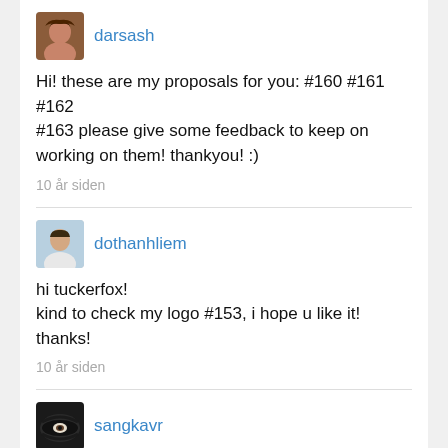[Figure (photo): Avatar thumbnail of user darsash - woman with brown hair]
darsash
Hi! these are my proposals for you: #160 #161 #162 #163 please give some feedback to keep on working on them! thankyou! :)
10 år siden
[Figure (photo): Avatar thumbnail of user dothanhliem - young man in light shirt]
dothanhliem
hi tuckerfox!
kind to check my logo #153, i hope u like it!
thanks!
10 år siden
[Figure (photo): Avatar thumbnail of user sangkavr - close-up eye, dark]
sangkavr
pls check #150 #151
thanks